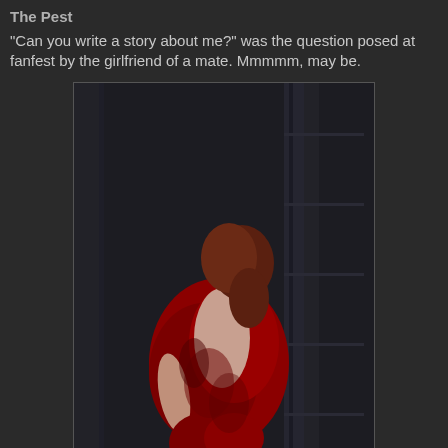The Pest
"Can you write a story about me?" was the question posed at fanfest by the girlfriend of a mate. Mmmmm, may be.
[Figure (photo): A woman in a red dress crouching against a dark metallic wall, viewed from behind.]
Harsh Justice
A Serpentis Crime Boss walks free from court. However the man who lost his wife and child to that man is in no mood to leave it at that.
Artificial
An expert in drones is testing the latest in home-help when